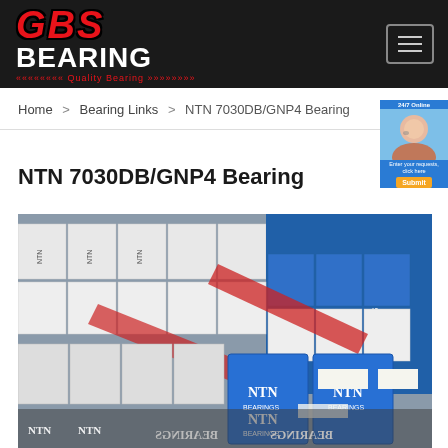GBS BEARING - Quality Bearing
Home > Bearing Links > NTN 7030DB/GNP4 Bearing
NTN 7030DB/GNP4 Bearing
[Figure (photo): Photo of multiple NTN bearing boxes stacked in a warehouse/storage area, with blue NTN branded packaging visible. Some individual bearing components are also visible in the foreground.]